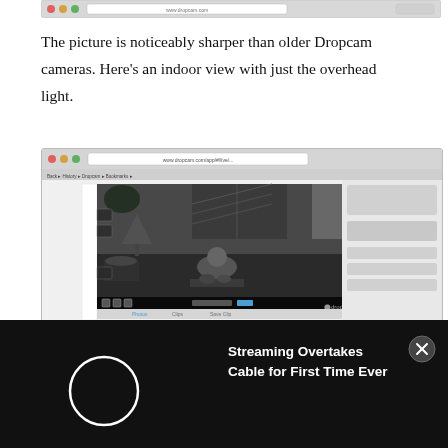[Figure (screenshot): Top portion of a browser/application window screenshot, cropped at the top of the page]
The picture is noticeably sharper than older Dropcam cameras. Here's an indoor view with just the overhead light.
[Figure (screenshot): Browser window showing Dropcam web interface with an indoor black-and-white night vision camera feed of a living room with a person seated, stairs visible in background, and Dropcam logo watermark in bottom right of video]
[Figure (screenshot): Black advertisement banner overlay reading 'Streaming Overtakes Cable for First Time Ever' with a circular play button icon on left and X close button on right]